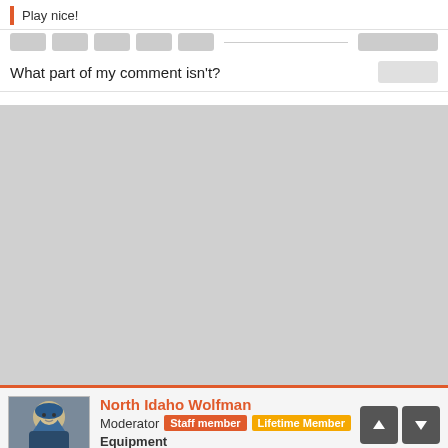Play nice!
What part of my comment isn't?
[Figure (screenshot): Large gray blank area representing empty space or a hidden/loaded image area]
North Idaho Wolfman
Moderator  Staff member  Lifetime Member
Equipment
L3450DT-GST, Woods FEL, B7100 HSD, FEL, 60… Bobcat with V2203, and more